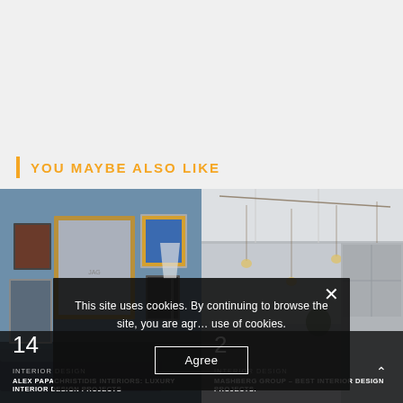YOU MAYBE ALSO LIKE
[Figure (photo): Interior photo showing a gallery wall with multiple framed artworks on a blue-gray wall, with a lamp and dark sofa, labeled card 14 - Alex Papachristidis Interiors Luxury Interior Design Projects]
[Figure (photo): Interior photo showing a modern kitchen/dining area with pendant lights hanging from ceiling, gray cabinetry, labeled card 2 - Mashberg Group Best Interior Design Projects]
14
INTERIOR DESIGN
ALEX PAPACHRISTIDIS INTERIORS: LUXURY INTERIOR DESIGN PROJECTS
2
INTERIOR DESIGN
MASHBERG GROUP – BEST INTERIOR DESIGN PROJECTS.
This site uses cookies. By continuing to browse the site, you are agr… use of cookies.
Agree